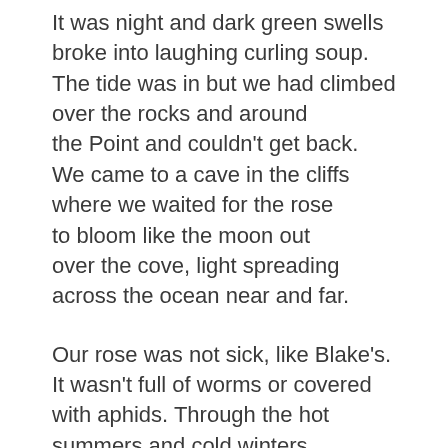It was night and dark green swells broke into laughing curling soup. The tide was in but we had climbed over the rocks and around the Point and couldn't get back. We came to a cave in the cliffs where we waited for the rose to bloom like the moon out over the cove, light spreading across the ocean near and far.
Our rose was not sick, like Blake's. It wasn't full of worms or covered with aphids. Through the hot summers and cold winters its mild scent filled the cave.
At night we first felt then heard